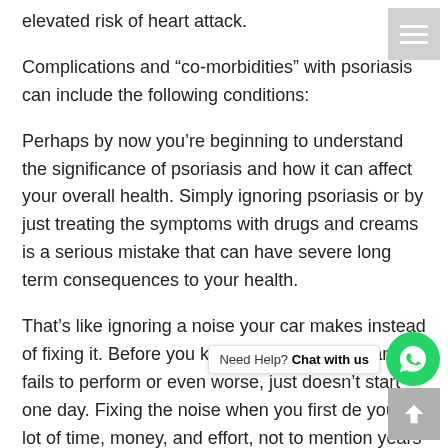elevated risk of heart attack.
Complications and “co-morbidities” with psoriasis can include the following conditions:
Perhaps by now you’re beginning to understand the significance of psoriasis and how it can affect your overall health. Simply ignoring psoriasis or by just treating the symptoms with drugs and creams is a serious mistake that can have severe long term consequences to your health.
That’s like ignoring a noise your car makes instead of fixing it. Before you know it you’ve got a car that fails to perform or even worse, just doesn’t start one day. Fixing the noise when you first d… [obscured] …e you a lot of time, money, and effort, not to mention years of potential problems. Having psoriasis is similar.